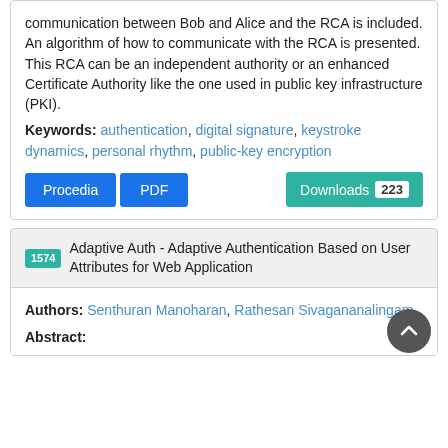communication between Bob and Alice and the RCA is included. An algorithm of how to communicate with the RCA is presented. This RCA can be an independent authority or an enhanced Certificate Authority like the one used in public key infrastructure (PKI).
Keywords: authentication, digital signature, keystroke dynamics, personal rhythm, public-key encryption
Procedia  PDF  Downloads 223
1574 Adaptive Auth - Adaptive Authentication Based on User Attributes for Web Application
Authors: Senthuran Manoharan, Rathesan Sivagananalingam
Abstract: